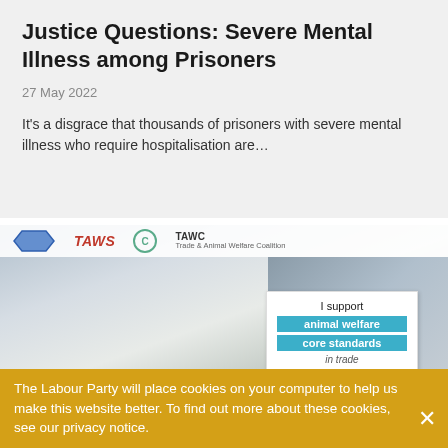Justice Questions: Severe Mental Illness among Prisoners
27 May 2022
It's a disgrace that thousands of prisoners with severe mental illness who require hospitalisation are…
[Figure (photo): Photo of a woman holding a sign reading 'I support animal welfare core standards in trade' at an event with RSPCA/PAWS/Trade & Animal Welfare Coalition banners in the background.]
The Labour Party will place cookies on your computer to help us make this website better. To find out more about these cookies, see our privacy notice.